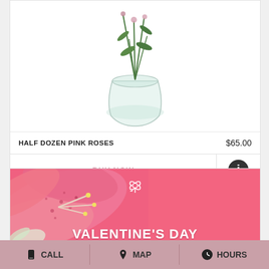[Figure (photo): Product photo of half dozen pink roses in a clear glass vase, partially cropped at top]
HALF DOZEN PINK ROSES    $65.00
BUY NOW
[Figure (photo): Valentine's Day promotional banner with pink stargazer lilies on a coral/pink background, white rose icon, and text VALENTINE'S DAY]
VALENTINE'S DAY
CALL   MAP   HOURS